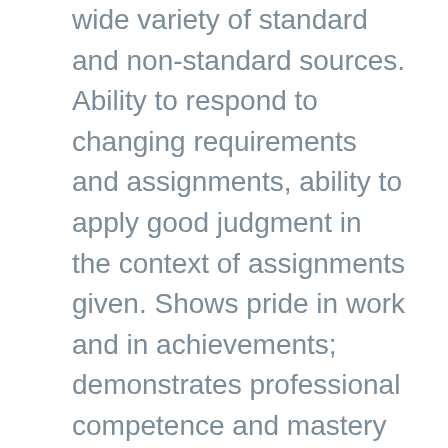wide variety of standard and non-standard sources. Ability to respond to changing requirements and assignments, ability to apply good judgment in the context of assignments given. Shows pride in work and in achievements; demonstrates professional competence and mastery of subject matter; is conscientious and efficient in meeting commitments, observing deadlines and achieving results; is motivated by professional rather than personal concerns; shows persistence when faced with difficult problems or challenges; remains calm in stressful situations. Commitment to implementing the goal of gender equality by ensuring the equal participation and full involvement of women and men in all aspects of work. COMMUNICATION: Speaks and writes clearly and effectively; listens to others, correctly interprets messages from others and responds appropriately;